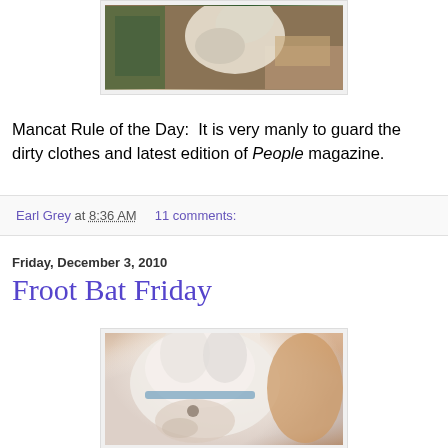[Figure (photo): A cat lying on or near dirty laundry and a magazine in a bathroom setting]
Mancat Rule of the Day:  It is very manly to guard the dirty clothes and latest edition of People magazine.
Earl Grey at 8:36 AM    11 comments:
Friday, December 3, 2010
Froot Bat Friday
[Figure (photo): Close-up photo of a white cat with large ears and a collar, lying down]